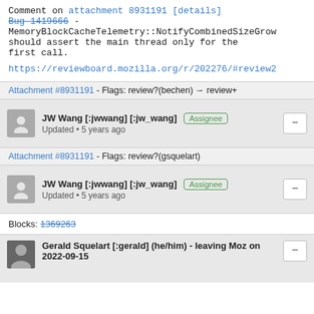Comment on attachment 8931191 [details] Bug 1419666 - MemoryBlockCacheTelemetry::NotifyCombinedSizeGrow should assert the main thread only for the first call.
https://reviewboard.mozilla.org/r/202276/#review2
Attachment #8931191 - Flags: review?(bechen) → review+
JW Wang [:jwwang] [:jw_wang] Assignee Updated • 5 years ago
Attachment #8931191 - Flags: review?(gsquelart)
JW Wang [:jwwang] [:jw_wang] Assignee Updated • 5 years ago
Blocks: 1369263
Gerald Squelart [:gerald] (he/him) - leaving Moz on 2022-09-15